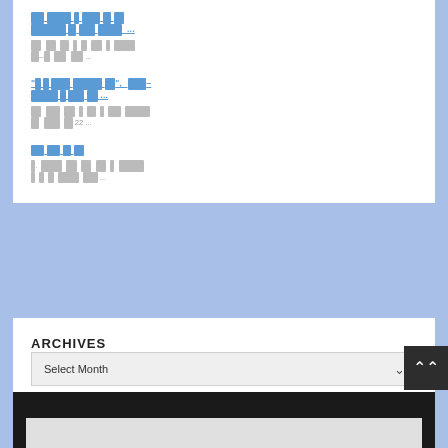[redacted link 1] [redacted link text continued] ...
[redacted excerpt 1] [redacted text] ...
[redacted link 2 with quotes] ...
[redacted excerpt 2] 22 ...
[redacted link 3]
[redacted excerpt 3] ...
ARCHIVES
Select Month